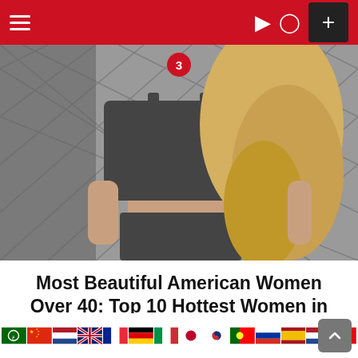Navigation bar with hamburger menu, dark mode icon, user icon, and plus button
[Figure (photo): A blonde woman wearing a dark gray crop top and matching skirt, standing outdoors in front of a chain-link fence. A red badge with the number 3 is overlaid near the top center of the image.]
Most Beautiful American Women Over 40: Top 10 Hottest Women in America
Row of language/country flag icons (Arabic, Chinese, Dutch, UK, French, German, Italian, Japanese, Korean, Portuguese, Russian, Spanish, Dutch, Turkish) with a scroll-to-top button